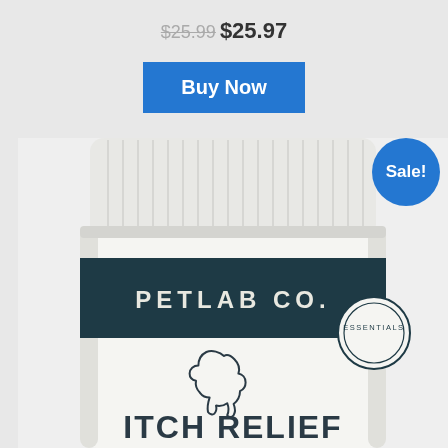$25.99 $25.97
Buy Now
[Figure (photo): PetLab Co. Itch Relief supplement bottle with white ribbed cap, dark teal label reading PETLAB CO., a dog head logo, ESSENTIALS badge, and ITCH RELIEF text at the bottom. A blue Sale! badge overlays the top-right corner.]